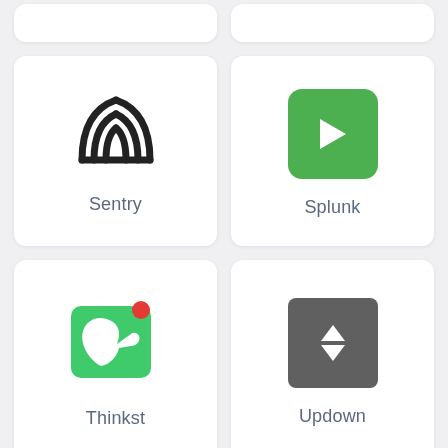[Figure (logo): Partial top-left card (cropped)]
[Figure (logo): Partial top-right card (cropped)]
[Figure (logo): Sentry integration card with Sentry logo (stacked wave triangle) and label 'Sentry']
[Figure (logo): Splunk integration card with green rounded square containing '>' chevron and label 'Splunk']
[Figure (logo): Thinkst integration card with green bird/canary logo with red dot and label 'Thinkst']
[Figure (logo): Updown integration card with gray square containing up/down arrows and label 'Updown']
[Figure (logo): Partial bottom-left card (cropped)]
[Figure (logo): Partial bottom-right card (cropped)]